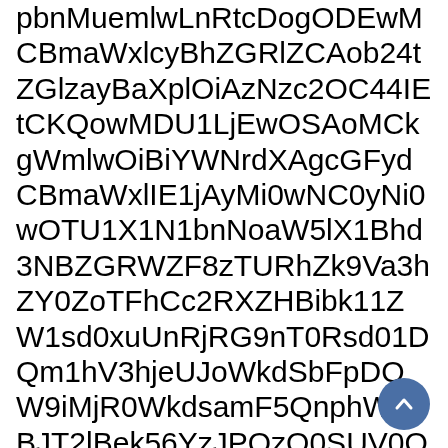pbnMuemlwLnRtcDogODEwMCBmaWxlcyBhZGRlZCAob24tZGlzayBaXplOiAzNzc2OC44IEtCKQowMDU1LjEwOSAoMCkgWmlwOiBiYWNrdXAgcGFydCBmaWxlIE1jAyMi0wNC0yNi0wOTU1X1N1bnNoaW5lX1Bhd3NBZGRWZF8zTURhZk9Va3hZY0ZoTFhCc2RXZHBibk11ZW1sd0xuUnRjRG9nT0Rsd01DQm1hV3hjeUJoWkdSbFpDQW9iMjR0WkdsamF5QnphWHBJT2lBek56YzJPQzQ0SUV0Q0tRb3dNRFUxTGpFeE9TQW9NQ2tnV21sd09pQmlZV05yZFhCZk1qQXlNaTB3TkMweU5pMHdPVFUxWDFOMWJuTm9hVzVsWDFCaGQzTmZaVFUzTURoa09Ua3hZekZoTFhCc2RXZHBibk11ZW1sd0xuUnRjRG9nT0Rsd01DQm1hV3hjeUJoWkdSbFpDQW9iMjR0WkdsamF5QnphWHBJT2lBek56YzJPQzQ0SUV0Q0tRb3dNRFUxTGpFek15QW9NQ2tnV21sd09pQmlZV05yZFhCZk1qQXlNaTB3TkMweU5pMHdPVFUxWDFOMWJuTm9hVzVsWDFCaGQzTmZaVFUzTURoa09Ua3hZekZoTFhCc2RXZHBibk11ZW1sd0xuUnRjRG9nT0RRd01DQm1hV3hjeUJoWkdSbFpDQW9iMjR0WkdsemF5QnphWHBJT2lBek56YzJPQzQ0SUV0Q0tRb3dNRFUxTGpFME9DQW9NQ2tnV21sd09pQmlZV05yZFhCZk1qQXlNaTB3TkMwek5DM05TbGl0ZmQz